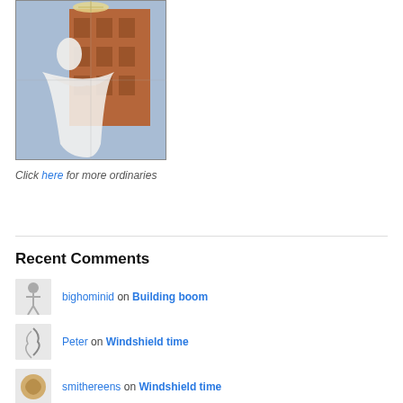[Figure (photo): Wedding dress displayed in a shop window with reflection of a brick building and chandelier]
Click here for more ordinaries
Recent Comments
bighominid on Building boom
Peter on Windshield time
smithereens on Windshield time